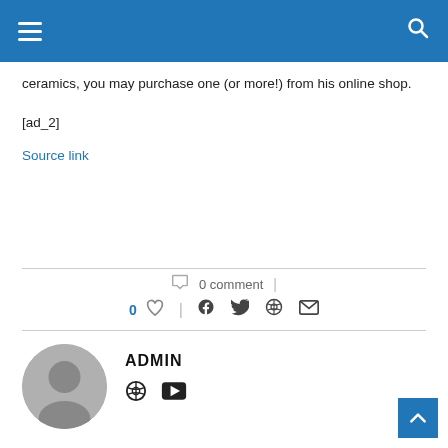Navigation bar with hamburger menu and search icon
ceramics, you may purchase one (or more!) from his online shop.
[ad_2]
Source link
0 comment
0 ♡  |  f  t  p  ✉
[Figure (illustration): Author avatar — grey circular user silhouette]
ADMIN
[Figure (illustration): Globe icon and YouTube icon for author social links]